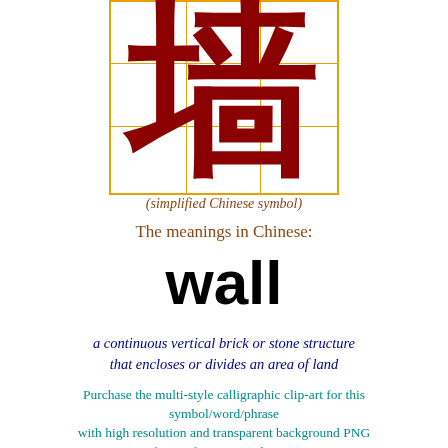[Figure (illustration): Large Chinese character for 'wall' (墙) rendered in dark red/maroon brush stroke style, displayed inside an orange grid box with 3x3 grid lines dividing the space]
(simplified Chinese symbol)
The meanings in Chinese:
wall
a continuous vertical brick or stone structure that encloses or divides an area of land
Purchase the multi-style calligraphic clip-art for this symbol/word/phrase with high resolution and transparent background PNG format for your art design.